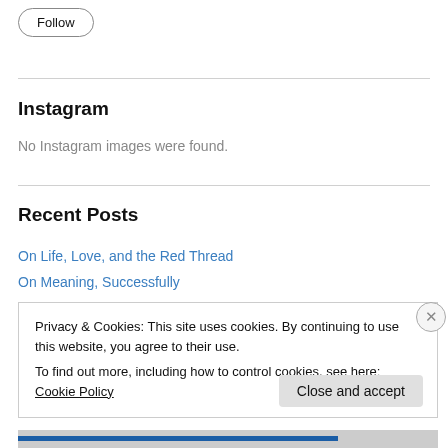Follow
Instagram
No Instagram images were found.
Recent Posts
On Life, Love, and the Red Thread
On Meaning, Successfully
Privacy & Cookies: This site uses cookies. By continuing to use this website, you agree to their use.
To find out more, including how to control cookies, see here: Cookie Policy
Close and accept